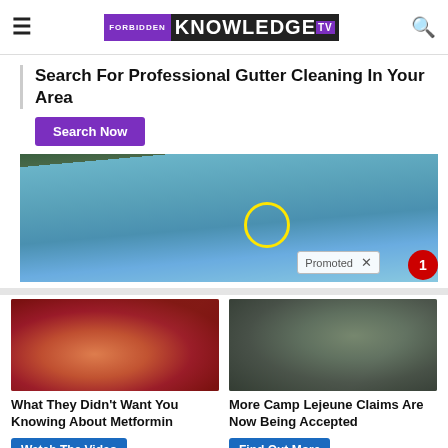FORBIDDEN KNOWLEDGE TV
Search For Professional Gutter Cleaning In Your Area
Search Now
[Figure (photo): Photo of people in a swimming pool, with a yellow circle highlighting something in the background. A 'Promoted X' tag is visible at the bottom.]
[Figure (photo): Close-up photo of what appears to be organ/biological tissue, reddish-brown color.]
What They Didn't Want You Knowing About Metformin
Watch The Video
[Figure (photo): Photo of soldiers in military gear on a boat moving through water.]
More Camp Lejeune Claims Are Now Being Accepted
Find Out More